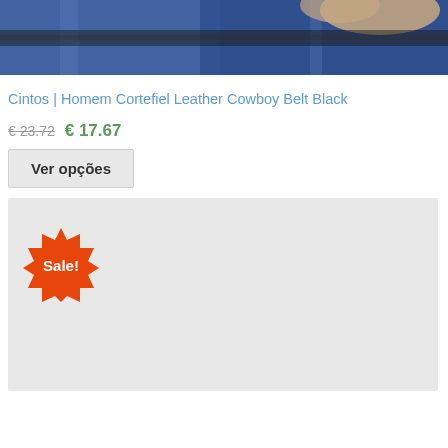[Figure (photo): Close-up photo of a person wearing dark blue jeans and a leather belt, partial torso view]
Cintos | Homem Cortefiel Leather Cowboy Belt Black
€ 23.72  €  17.67
Ver opções
[Figure (photo): Second product image placeholder with an orange 'Sale!' badge in the top-left corner]